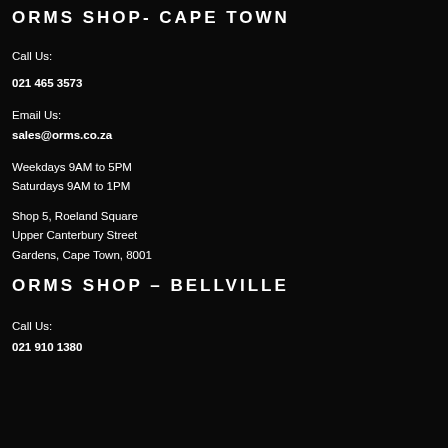ORMS SHOP- CAPE TOWN
Call Us:
021 465 3573
Email Us:
sales@orms.co.za
Weekdays 9AM to 5PM
Saturdays 9AM to 1PM
Shop 5, Roeland Square
Upper Canterbury Street
Gardens, Cape Town, 8001
ORMS SHOP – BELLVILLE
Call Us:
021 910 1380